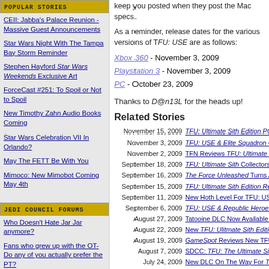keep you posted when they post the Mac specs.
As a reminder, release dates for the various versions of TFU: USE are as follows:
Xbox 360 - November 3, 2009
Playstation 3 - November 3, 2009
PC - October 23, 2009
Thanks to D@n13L for the heads up!
Related Stories
November 15, 2009 - TFU: Ultimate Sith Edition PC P...
November 3, 2009 - TFU: USE & Elite Squadron Out...
November 2, 2009 - TFN Reviews TFU: Ultimate Sith...
September 18, 2009 - TFU: Ultimate Sith Collectors Ed...
September 16, 2009 - The Force Unleashed Turns A Y...
September 15, 2009 - TFU: Ultimate Sith Edition Relea...
September 11, 2009 - New Hoth Level For TFU: USE
September 6, 2009 - TFU: USE & Republic Heroes P...
August 27, 2009 - Tatooine DLC Now Available Fo...
August 22, 2009 - New TFU: Ulitmate Sith Edition...
August 19, 2009 - GameSpot Reviews New TFU D...
August 7, 2009 - SDCC: TFU: The Ultimate Sith E...
July 24, 2009 - New DLC On The Way For The...
March 30, 2009 - The Force Unleashed Special E...
February 9, 2009 - The Force Unleashed Wins WG...
January 14, 2009 - TFU Nominated For WGA Awar...
January 10, 2009 - Win TFU For The Nokia N-Gage...
December 8, 2008 - New Single-Player Level For Th...
POPULAR STORIES
CEII: Jabba's Palace Reunion - Massive Guest Announcements
Star Wars Night With The Tampa Bay Storm Reminder
Stephen Hayford Star Wars Weekends Exclusive Art
ForceCast #251: To Spoil or Not to Spoil
New Timothy Zahn Audio Books Coming
Star Wars Celebration VII In Orlando?
May The FETT Be With You
Mimoco: New Mimobot Coming May 4th
JEDI COUNCIL FORUMS
Who Doesn't Hate Jar Jar anymore?
Fans who grew up with the OT-Do any of you actually prefer the PT?
Should darth maul have died?
What plotline, character or...